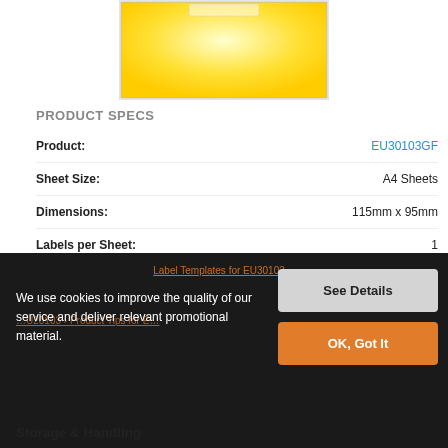[Figure (photo): Yellow label product image on white background]
PRODUCT SPECS
| Field | Value |
| --- | --- |
| Product: | EU30103GF |
| Sheet Size: | A4 Sheets |
| Dimensions: | 115mm x 95mm |
| Labels per Sheet: | 1 |
We use cookies to improve the quality of our service and deliver relevant promotional material.
Storage & Handling